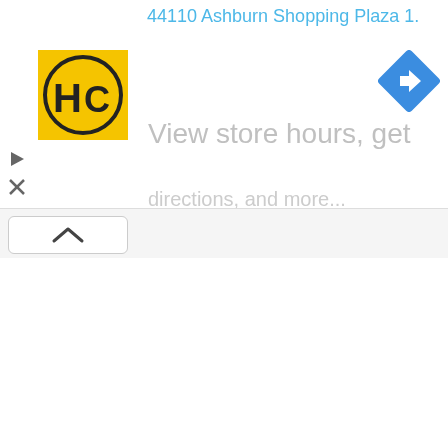44110 Ashburn Shopping Plaza 1.
[Figure (logo): HC logo - yellow square with circular HC emblem in black]
[Figure (other): Blue diamond-shaped navigation/directions icon with white right-turn arrow]
View store hours, get
directions, and more...
[Figure (other): Ad controls: play button and close (X) button]
[Figure (other): Upward chevron (^) collapse button in a rounded rectangle]